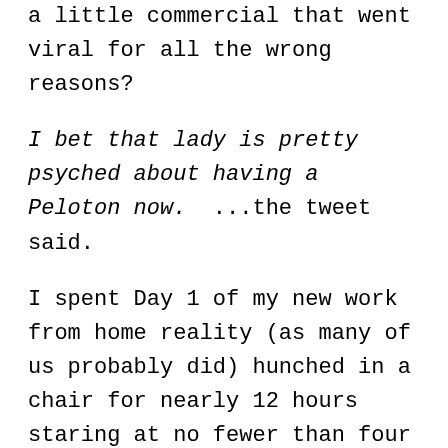a little commercial that went viral for all the wrong reasons?
I bet that lady is pretty psyched about having a Peloton now. ...the tweet said.
I spent Day 1 of my new work from home reality (as many of us probably did) hunched in a chair for nearly 12 hours staring at no fewer than four screens, occasionally breaking to refill my coffee, or grab a snack, or play a few songs on my violin. No mindless walks